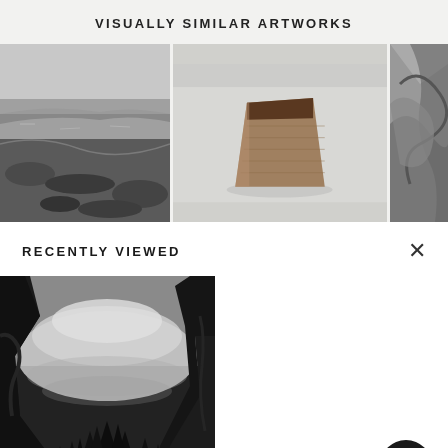VISUALLY SIMILAR ARTWORKS
[Figure (photo): Strip of three artwork thumbnails: left shows a dark coastal/shoreline landscape photograph in black and white; center shows a sculptural object (wedge-shaped, burlap/woven material) against a light grey background; right shows a partial dark abstract image.]
RECENTLY VIEWED
[Figure (photo): Black and white photograph of a dramatic mountain valley with tall dark cliffs, mist/fog, and dense evergreen trees at the base — reminiscent of Yosemite Valley style landscape photography.]